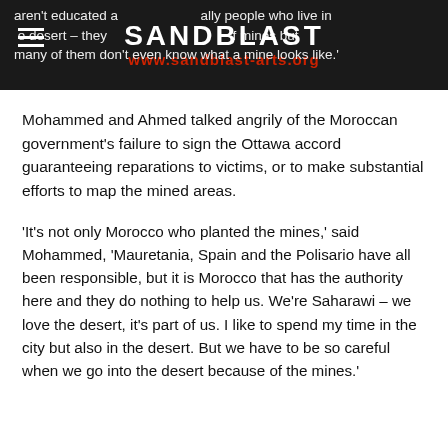SANDBLAST
www.sandblast-arts.org
aren't educated about mines – the reality is people who live in the desert – they need to know about the mines but many of them don't even know what a mine looks like.'
Mohammed and Ahmed talked angrily of the Moroccan government's failure to sign the Ottawa accord guaranteeing reparations to victims, or to make substantial efforts to map the mined areas.
'It's not only Morocco who planted the mines,' said Mohammed, 'Mauretania, Spain and the Polisario have all been responsible, but it is Morocco that has the authority here and they do nothing to help us. We're Saharawi – we love the desert, it's part of us. I like to spend my time in the city but also in the desert. But we have to be so careful when we go into the desert because of the mines.'